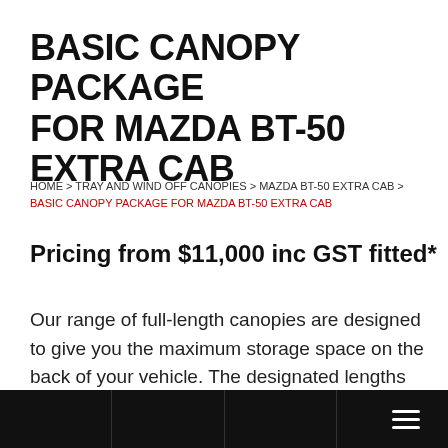BASIC CANOPY PACKAGE FOR MAZDA BT-50 EXTRA CAB
HOME > TRAY AND WIND OFF CANOPIES > MAZDA BT-50 EXTRA CAB > BASIC CANOPY PACKAGE FOR MAZDA BT-50 EXTRA CAB
Pricing from $11,000 inc GST fitted*
Our range of full-length canopies are designed to give you the maximum storage space on the back of your vehicle. The designated lengths per vehicle are what we have found after years of testing the absolute maximum length